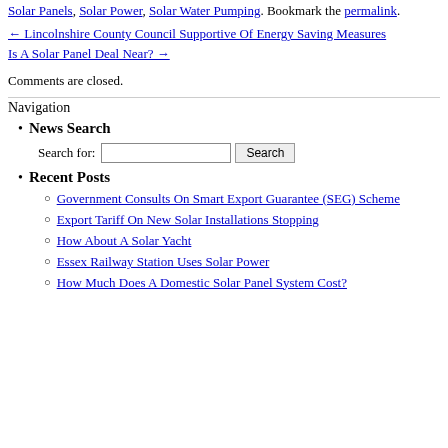Solar Panels, Solar Power, Solar Water Pumping. Bookmark the permalink.
← Lincolnshire County Council Supportive Of Energy Saving Measures
Is A Solar Panel Deal Near? →
Comments are closed.
Navigation
News Search
Search for: [input] Search
Recent Posts
Government Consults On Smart Export Guarantee (SEG) Scheme
Export Tariff On New Solar Installations Stopping
How About A Solar Yacht
Essex Railway Station Uses Solar Power
How Much Does A Domestic Solar Panel System Cost?